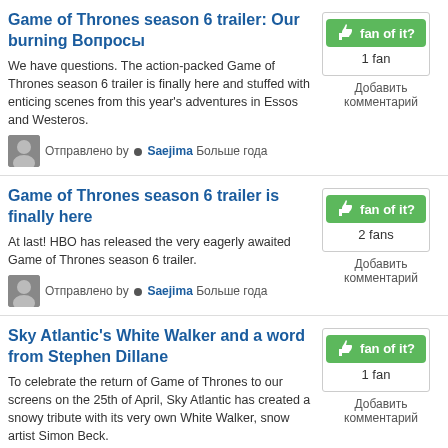Game of Thrones season 6 trailer: Our burning Вопросы
We have questions. The action-packed Game of Thrones season 6 trailer is finally here and stuffed with enticing scenes from this year's adventures in Essos and Westeros.
Отправлено by • Saejima Больше года
[Figure (other): fan of it? button with 1 fan count and Добавить комментарий link]
Game of Thrones season 6 trailer is finally here
At last! HBO has released the very eagerly awaited Game of Thrones season 6 trailer.
Отправлено by • Saejima Больше года
[Figure (other): fan of it? button with 2 fans count and Добавить комментарий link]
Sky Atlantic's White Walker and a word from Stephen Dillane
To celebrate the return of Game of Thrones to our screens on the 25th of April, Sky Atlantic has created a snowy tribute with its very own White Walker, snow artist Simon Beck.
Отправлено by • Saejima Больше года
[Figure (other): fan of it? button with 1 fan count and Добавить комментарий link]
Kit Harington admits he's in Game of Thrones season 6 (but still dead)
One Game of Thrones mystery has been solved ahead of season 6. Kind of.
[Figure (other): fan of it? button with 1 fan count and Добавить комментарий link]